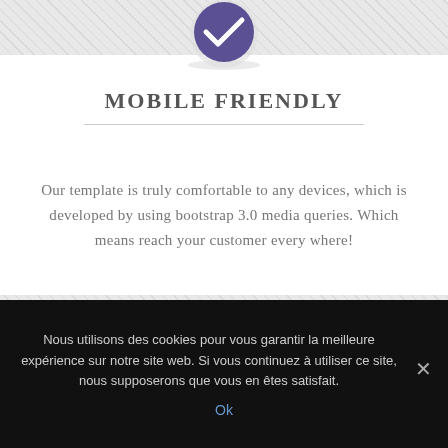[Figure (illustration): Purple circle icon with a white checkmark, partially visible at top of page, on a hatched gray background band]
MOBILE FRIENDLY
Our template is truly comfortable to any devices, which is developed by using bootstrap 3.0 media queries. Which means reach your customer every where!
[Figure (illustration): Purple circle icon with a white person/user silhouette, partially visible at bottom of main content area, on a hatched gray background band]
Nous utilisons des cookies pour vous garantir la meilleure expérience sur notre site web. Si vous continuez à utiliser ce site, nous supposerons que vous en êtes satisfait.
Ok